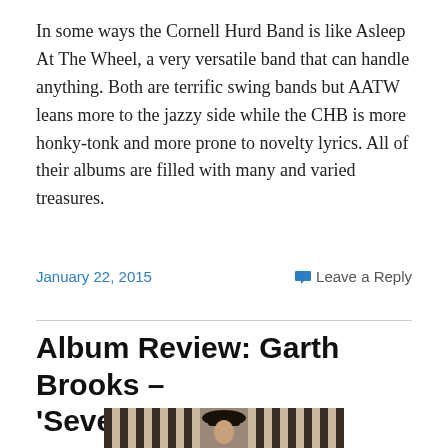In some ways the Cornell Hurd Band is like Asleep At The Wheel, a very versatile band that can handle anything. Both are terrific swing bands but AATW leans more to the jazzy side while the CHB is more honky-tonk and more prone to novelty lyrics. All of their albums are filled with many and varied treasures.
January 22, 2015    Leave a Reply
Album Review: Garth Brooks – 'Sevens'
[Figure (photo): Photo of a man wearing a black cowboy hat, standing behind what appears to be a fence or bars structure.]